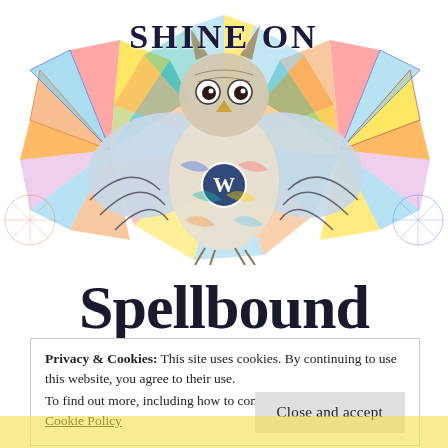[Figure (illustration): Colorful illustration of an owl with spread wings, surrounded by geometric starburst patterns in orange, blue, red, yellow, and teal. Text 'SHINE ON' appears in dark serif letters at the top center, and a circular 'W' (WordPress) logo is on the owl's chest.]
Spellbound Cafe
Privacy & Cookies: This site uses cookies. By continuing to use this website, you agree to their use. To find out more, including how to control cookies, see here: Cookie Policy
Close and accept